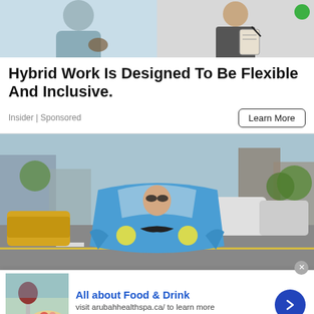[Figure (photo): Top banner with two images side by side: left shows a person in casual clothing (partial), right shows a person writing on a clipboard with a green dot badge in the corner]
Hybrid Work Is Designed To Be Flexible And Inclusive.
Insider | Sponsored
Learn More
[Figure (photo): A person driving a small blue three-wheeled electric vehicle on a busy city street, with cars and urban buildings in the background]
[Figure (photo): Advertisement banner: All about Food & Drink - visit arubahhealthspa.ca/ to learn more - www.arubahhealthspa.ca - with thumbnail of wine glass and food plate, and a blue arrow button]